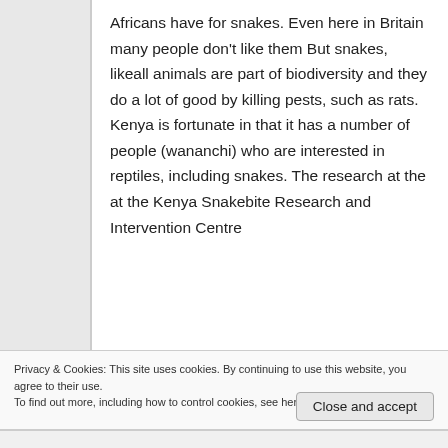Africans have for snakes. Even here in Britain many people don't like them But snakes, likeall animals are part of biodiversity and they do a lot of good by killing pests, such as rats. Kenya is fortunate in that it has a number of people (wananchi) who are interested in reptiles, including snakes. The research at the at the Kenya Snakebite Research and Intervention Centre
Privacy & Cookies: This site uses cookies. By continuing to use this website, you agree to their use.
To find out more, including how to control cookies, see here: Cookie Policy
Close and accept
reptile workshops in Kenya